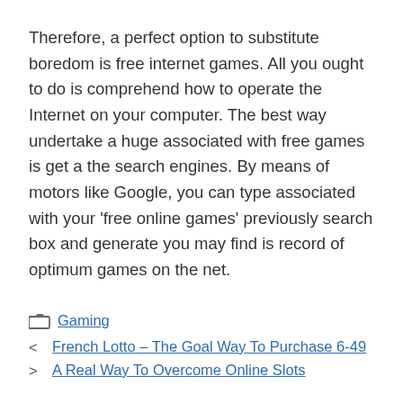Therefore, a perfect option to substitute boredom is free internet games. All you ought to do is comprehend how to operate the Internet on your computer. The best way undertake a huge associated with free games is get a the search engines. By means of motors like Google, you can type associated with your 'free online games' previously search box and generate you may find is record of optimum games on the net.
Gaming
French Lotto – The Goal Way To Purchase 6-49
A Real Way To Overcome Online Slots